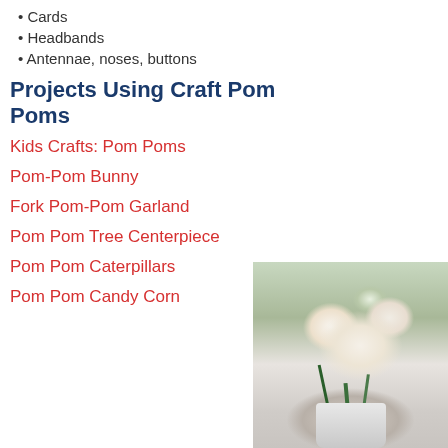Cards
Headbands
Antennae, noses, buttons
Projects Using Craft Pom Poms
Kids Crafts: Pom Poms
Pom-Pom Bunny
Fork Pom-Pom Garland
Pom Pom Tree Centerpiece
Pom Pom Caterpillars
Pom Pom Candy Corn
[Figure (photo): Photo of white/cream flowers in a white vase, with green foliage, placed on a surface. Part of a bunny figure visible at bottom right.]